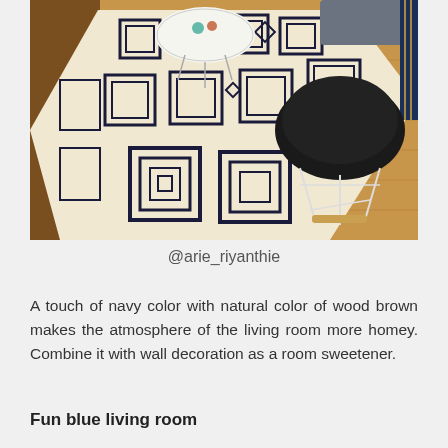[Figure (photo): Interior room photo showing a geometric patterned cream and black rug on wooden floor, with a black Eames-style chair with white wire legs and a round white coffee table visible.]
@arie_riyanthie
A touch of navy color with natural color of wood brown makes the atmosphere of the living room more homey. Combine it with wall decoration as a room sweetener.
Fun blue living room